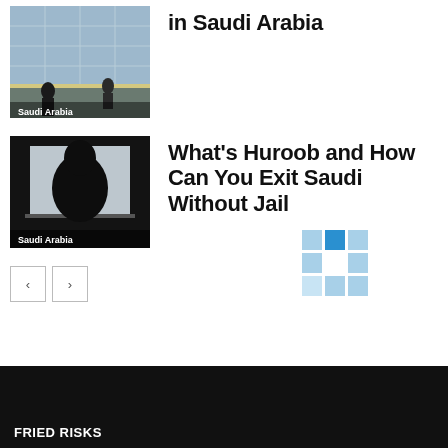[Figure (photo): Office/corridor scene with people walking, labeled 'Saudi Arabia']
in Saudi Arabia
[Figure (photo): Silhouette of a person against a window, labeled 'Saudi Arabia']
What's Huroob and How Can You Exit Saudi Without Jail
[Figure (logo): Blue mosaic grid logo]
FRIED RISKS